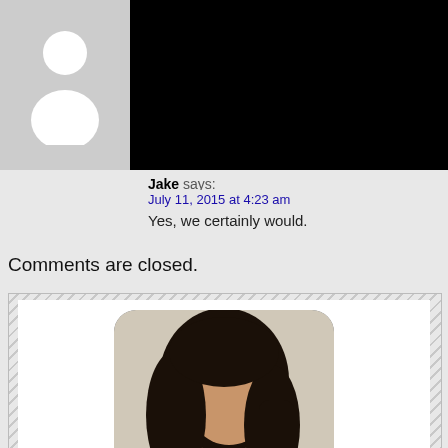[Figure (screenshot): Screenshot of a blog comment section. Top portion shows a generic grey avatar placeholder on the left and a black rectangle on the right. Below is a comment by 'Jake' dated July 11, 2015 at 4:23 am saying 'Yes, we certainly would.' Followed by 'Comments are closed.' text. Below that is a widget box with diagonal stripe border containing a rounded photo of a dark-haired woman named Sabrina PSK and a partial biography text.]